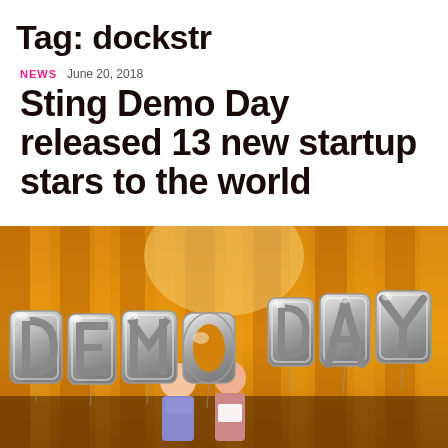Tag: dockstr
NEWS   June 20, 2018
Sting Demo Day released 13 new startup stars to the world
[Figure (photo): Two people posing in front of large silver balloon letters spelling DEMO DAY against gold/orange curtain backdrop]